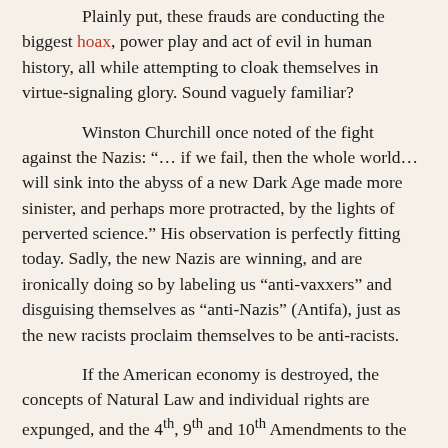Plainly put, these frauds are conducting the biggest hoax, power play and act of evil in human history, all while attempting to cloak themselves in virtue-signaling glory. Sound vaguely familiar?
Winston Churchill once noted of the fight against the Nazis: “… if we fail, then the whole world… will sink into the abyss of a new Dark Age made more sinister, and perhaps more protracted, by the lights of perverted science.” His observation is perfectly fitting today. Sadly, the new Nazis are winning, and are ironically doing so by labeling us “anti-vaxxers” and disguising themselves as “anti-Nazis” (Antifa), just as the new racists proclaim themselves to be anti-racists.
If the American economy is destroyed, the concepts of Natural Law and individual rights are expunged, and the 4th, 9th and 10th Amendments to the Constitution are ignored, the United States—and the rest of the world—will sink into an abyss, a new Dark Age. One made more sinister, and perhaps more protracted, by the lights of perverted science…and perverted scientists… whether at the Wuhan lab or in the NIH.